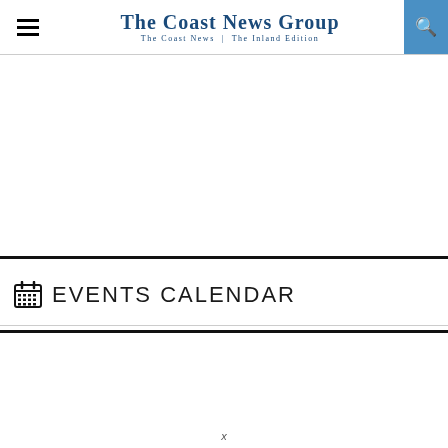The Coast News Group — The Coast News | The Inland Edition
EVENTS CALENDAR